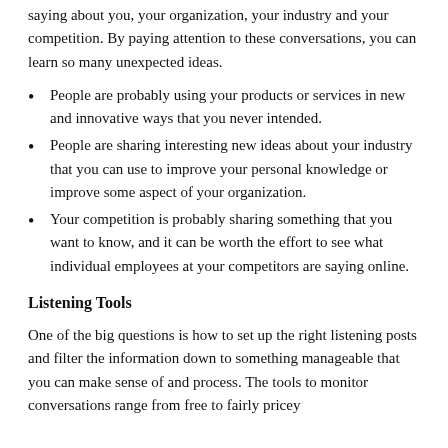saying about you, your organization, your industry and your competition. By paying attention to these conversations, you can learn so many unexpected ideas.
People are probably using your products or services in new and innovative ways that you never intended.
People are sharing interesting new ideas about your industry that you can use to improve your personal knowledge or improve some aspect of your organization.
Your competition is probably sharing something that you want to know, and it can be worth the effort to see what individual employees at your competitors are saying online.
Listening Tools
One of the big questions is how to set up the right listening posts and filter the information down to something manageable that you can make sense of and process. The tools to monitor conversations range from free to fairly pricey alternatives.